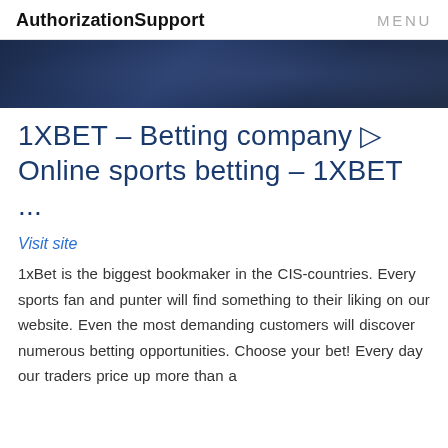AuthorizationSupport   MENU
[Figure (photo): Dark blue banner image with abstract background, likely a betting/sports themed header image]
1XBET – Betting company ▷ Online sports betting – 1XBET ...
Visit site
1xBet is the biggest bookmaker in the CIS-countries. Every sports fan and punter will find something to their liking on our website. Even the most demanding customers will discover numerous betting opportunities. Choose your bet! Every day our traders price up more than a